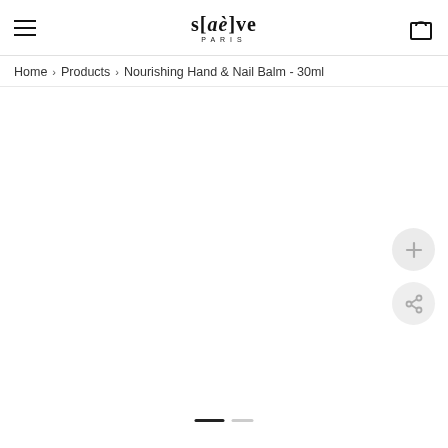s[aè]ve PARIS — navigation header with hamburger menu and cart icon
Home › Products › Nourishing Hand & Nail Balm - 30ml
[Figure (screenshot): Product image area — blank white area showing a cosmetic product page with zoom (+) and share buttons on the right side, and carousel dots at the bottom]